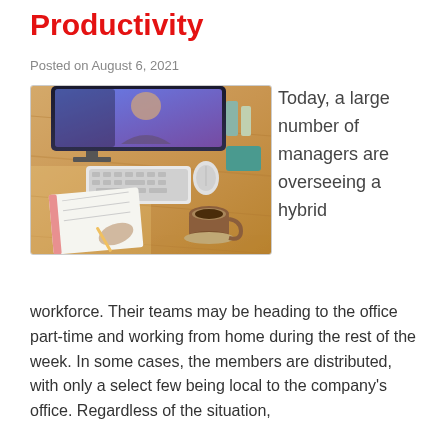Productivity
Posted on August 6, 2021
[Figure (photo): Overhead view of a wooden desk with a computer monitor showing a video call, keyboard, mouse, notebook, pen, and coffee cup. A person's hand is visible writing in the notebook.]
Today, a large number of managers are overseeing a hybrid workforce. Their teams may be heading to the office part-time and working from home during the rest of the week. In some cases, the members are distributed, with only a select few being local to the company's office. Regardless of the situation,